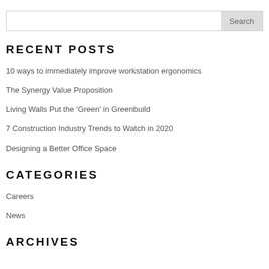RECENT POSTS
10 ways to immediately improve workstation ergonomics
The Synergy Value Proposition
Living Walls Put the ‘Green’ in Greenbuild
7 Construction Industry Trends to Watch in 2020
Designing a Better Office Space
CATEGORIES
Careers
News
ARCHIVES